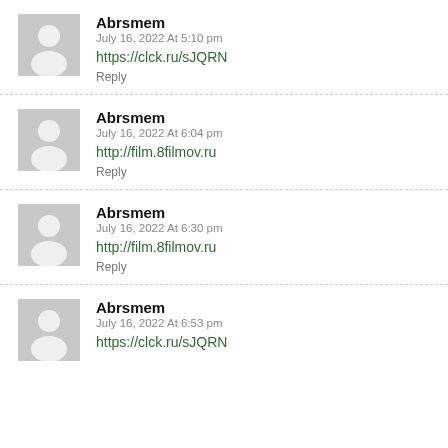Abrsmem
July 16, 2022 At 5:10 pm
https://clck.ru/sJQRN
Reply
Abrsmem
July 16, 2022 At 6:04 pm
http://film.8filmov.ru
Reply
Abrsmem
July 16, 2022 At 6:30 pm
http://film.8filmov.ru
Reply
Abrsmem
July 16, 2022 At 6:53 pm
https://clck.ru/sJQRN